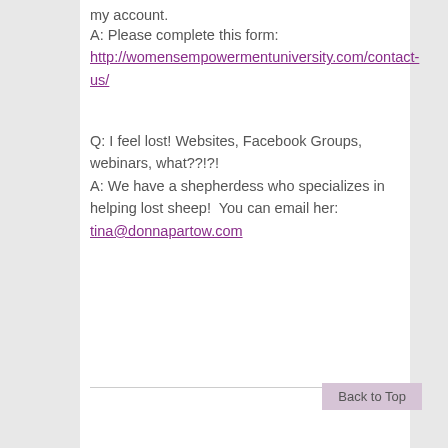my account.
A: Please complete this form: http://womensempowermentuniversity.com/contact-us/
Q: I feel lost! Websites, Facebook Groups, webinars, what??!?!
A: We have a shepherdess who specializes in helping lost sheep!  You can email her: tina@donnapartow.com
Back to Top